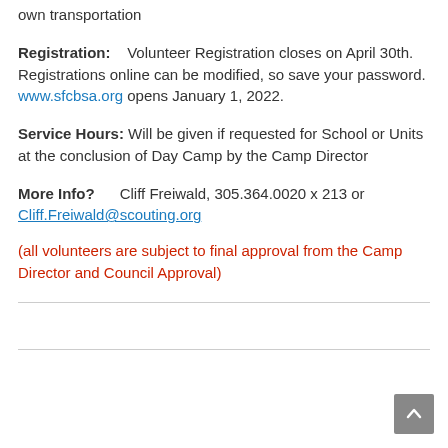own transportation
Registration:    Volunteer Registration closes on April 30th. Registrations online can be modified, so save your password. www.sfcbsa.org opens January 1, 2022.
Service Hours: Will be given if requested for School or Units at the conclusion of Day Camp by the Camp Director
More Info?        Cliff Freiwald, 305.364.0020 x 213 or Cliff.Freiwald@scouting.org
(all volunteers are subject to final approval from the Camp Director and Council Approval)